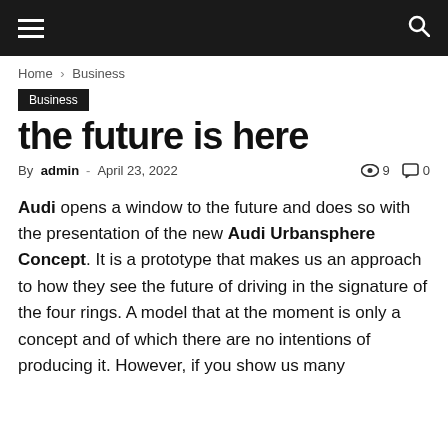Business
Home › Business
Business
the future is here
By admin - April 23, 2022  9  0
Audi opens a window to the future and does so with the presentation of the new Audi Urbansphere Concept. It is a prototype that makes us an approach to how they see the future of driving in the signature of the four rings. A model that at the moment is only a concept and of which there are no intentions of producing it. However, if you show us many